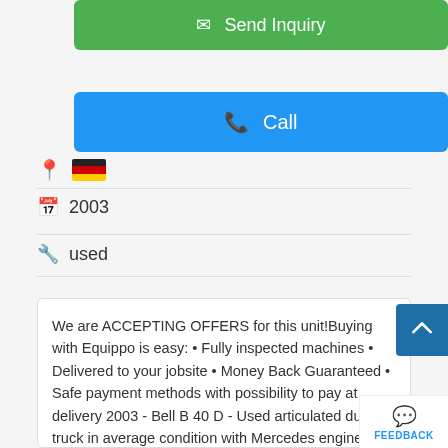[Figure (illustration): Green 'Send Inquiry' button with envelope icon at top of page]
[Figure (illustration): Blue 'Call' button with phone icon]
[Figure (illustration): Location pin icon with German flag]
2003
used
We are ACCEPTING OFFERS for this unit!Buying with Equippo is easy: • Fully inspected machines • Delivered to your jobsite • Money Back Guaranteed • Safe payment methods with possibility to pay at delivery 2003 - Bell B 40 D - Used articulated dump truck in average condition with Mercedes engine, automatic central lubrication, flat bed dump, 37000 kg capacity and Bridgestone pneumatic tires. CE marked: Yes EPA marked: Yes Qkhqz 61 Inspection points 49 Approved 8 Imperfections 4 Issues Contact u...